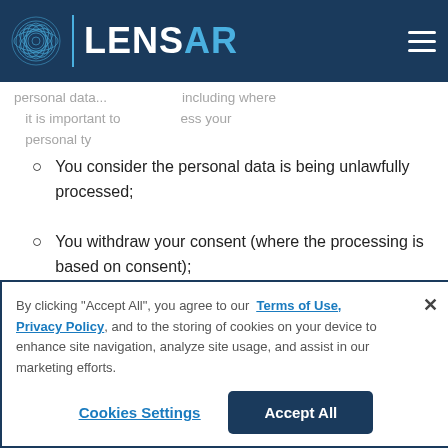LENSAR
personal data... it is important to process your personal ty
You consider the personal data is being unlawfully processed;
You withdraw your consent (where the processing is based on consent);
You object to the processing and there are no overriding legitimate grounds justifying the processing; or
By clicking "Accept All", you agree to our Terms of Use, Privacy Policy, and to the storing of cookies on your device to enhance site navigation, analyze site usage, and assist in our marketing efforts.
Cookies Settings | Accept All